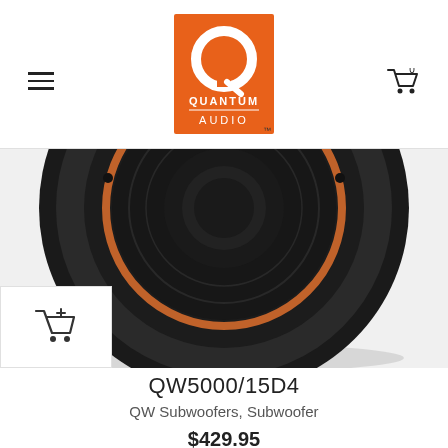[Figure (logo): Quantum Audio logo — orange square with white Q-circle icon and 'QUANTUM AUDIO' text with TM mark]
[Figure (photo): Close-up photo of a black subwoofer driver (QW5000/15D4) with orange accent ring, shown from front against white background]
QW5000/15D4
QW Subwoofers, Subwoofer
$429.95